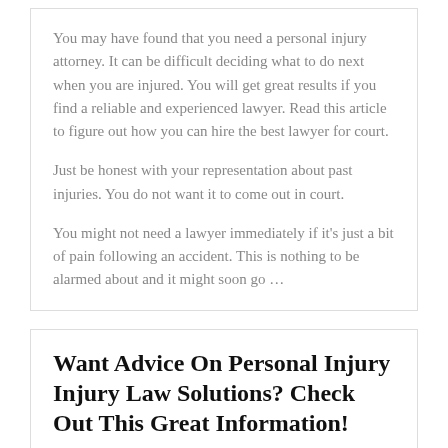You may have found that you need a personal injury attorney. It can be difficult deciding what to do next when you are injured. You will get great results if you find a reliable and experienced lawyer. Read this article to figure out how you can hire the best lawyer for court.
Just be honest with your representation about past injuries. You do not want it to come out in court.
You might not need a lawyer immediately if it’s just a bit of pain following an accident. This is nothing to be alarmed about and it might soon go …
Want Advice On Personal Injury Injury Law Solutions? Check Out This Great Information!
Posted on June 25, 2022 by pauline